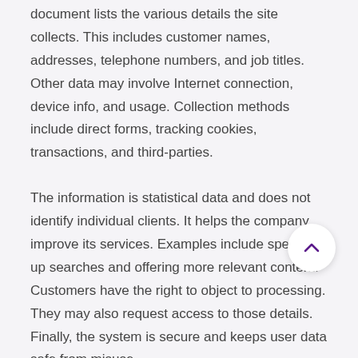document lists the various details the site collects. This includes customer names, addresses, telephone numbers, and job titles. Other data may involve Internet connection, device info, and usage. Collection methods include direct forms, tracking cookies, transactions, and third-parties.
The information is statistical data and does not identify individual clients. It helps the company improve its services. Examples include speeding up searches and offering more relevant content. Customers have the right to object to processing. They may also request access to those details. Finally, the system is secure and keeps user data safe from misuse.
Refund Policy